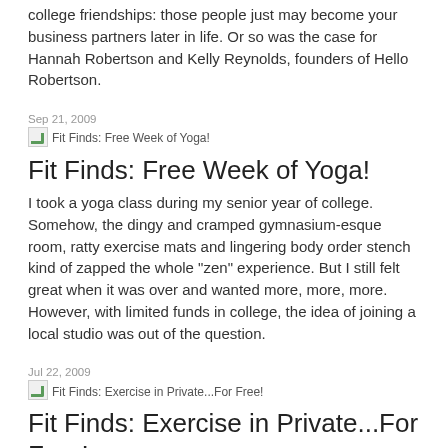college friendships: those people just may become your business partners later in life. Or so was the case for Hannah Robertson and Kelly Reynolds, founders of Hello Robertson.
Sep 21, 2009
[Figure (other): Broken image thumbnail for Fit Finds: Free Week of Yoga! article]
Fit Finds: Free Week of Yoga!
Fit Finds: Free Week of Yoga!
I took a yoga class during my senior year of college. Somehow, the dingy and cramped gymnasium-esque room, ratty exercise mats and lingering body order stench kind of zapped the whole "zen" experience. But I still felt great when it was over and wanted more, more, more. However, with limited funds in college, the idea of joining a local studio was out of the question.
Jul 22, 2009
[Figure (other): Broken image thumbnail for Fit Finds: Exercise in Private...For Free! article]
Fit Finds: Exercise in Private...For Free!
Fit Finds: Exercise in Private...For Free!